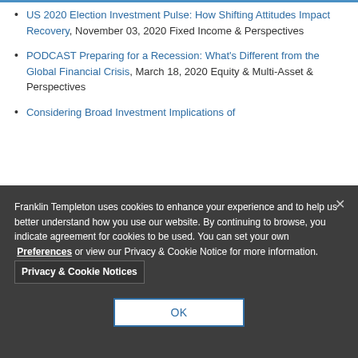US 2020 Election Investment Pulse: How Shifting Attitudes Impact Recovery, November 03, 2020 Fixed Income & Perspectives
PODCAST Preparing for a Recession: What's Different from the Global Financial Crisis, March 18, 2020 Equity & Multi-Asset & Perspectives
Considering Broad Investment Implications of
Franklin Templeton uses cookies to enhance your experience and to help us better understand how you use our website. By continuing to browse, you indicate agreement for cookies to be used. You can set your own Preferences or view our Privacy & Cookie Notice for more information. Privacy & Cookie Notices